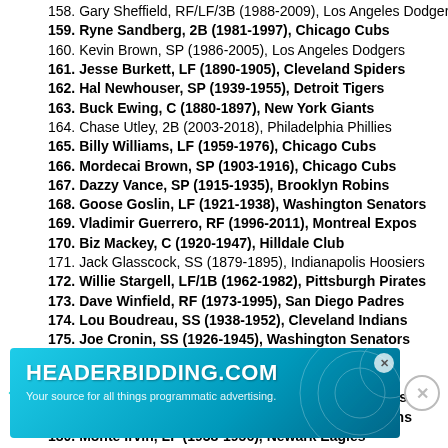158. Gary Sheffield, RF/LF/3B (1988-2009), Los Angeles Dodgers
159. Ryne Sandberg, 2B (1981-1997), Chicago Cubs
160. Kevin Brown, SP (1986-2005), Los Angeles Dodgers
161. Jesse Burkett, LF (1890-1905), Cleveland Spiders
162. Hal Newhouser, SP (1939-1955), Detroit Tigers
163. Buck Ewing, C (1880-1897), New York Giants
164. Chase Utley, 2B (2003-2018), Philadelphia Phillies
165. Billy Williams, LF (1959-1976), Chicago Cubs
166. Mordecai Brown, SP (1903-1916), Chicago Cubs
167. Dazzy Vance, SP (1915-1935), Brooklyn Robins
168. Goose Goslin, LF (1921-1938), Washington Senators
169. Vladimir Guerrero, RF (1996-2011), Montreal Expos
170. Biz Mackey, C (1920-1947), Hilldale Club
171. Jack Glasscock, SS (1879-1895), Indianapolis Hoosiers
172. Willie Stargell, LF/1B (1962-1982), Pittsburgh Pirates
173. Dave Winfield, RF (1973-1995), San Diego Padres
174. Lou Boudreau, SS (1938-1952), Cleveland Indians
175. Joe Cronin, SS (1926-1945), Washington Senators
176. Joey Votto, 1B (2007-Present), Cincinnati Reds
177. Andruw Jones, CF (1996-2012), Atlanta Braves
178. Bobby Wallace, SS (1894-1918), St. Louis Browns
179. Stan Coveleski, SP (1912-1928), Cleveland Indians
180. Monte Irvin, LF (1938-1956), Newark Eagles
181. Deacon White, 3B/C (1871-1890), Buffalo Bisons
182. Dobie Moore, SS (1920-1926), Kansas City Monarchs
183. R...
184. J...
185. De...
186. Da...
187. Jim Bunning, SP (1955-1971), Philadelphia Phillies
188. ...
[Figure (screenshot): Advertisement banner for HEADERBIDDING.COM reading 'Your source for all things programmatic advertising.']